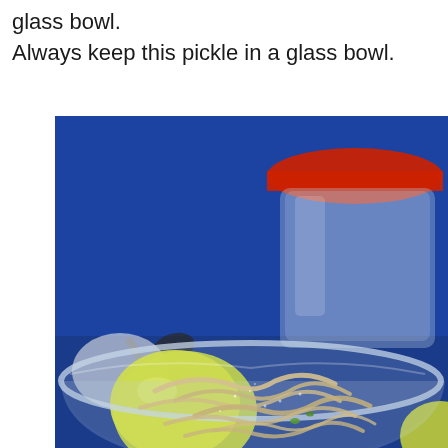glass bowl.
Always keep this pickle in a glass bowl.
[Figure (photo): A glass bowl containing shredded ginger pickle (julienned ginger strips with spices), with a lemon/lime and a dark spoon in the background, a glass jar with a red lid out of focus in the upper right, all on a blue background.]